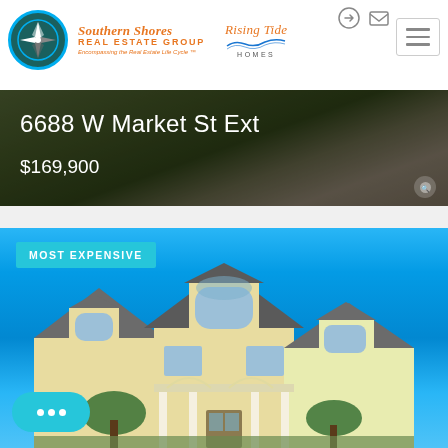[Figure (logo): Southern Shores Real Estate Group logo with compass rose and Rising Tide Homes logo]
6688 W Market St Ext
$169,900
[Figure (photo): Most Expensive badge over photo of a house with blue sky background, yellow house with white trim and dormer windows]